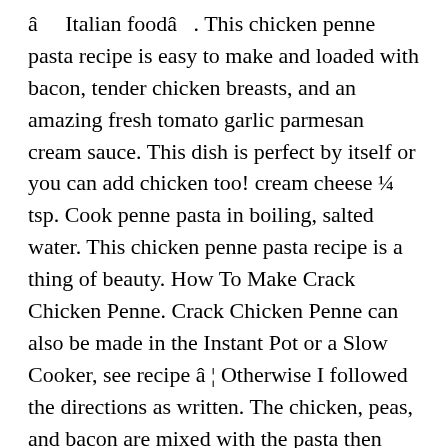â Italian foodâ . This chicken penne pasta recipe is easy to make and loaded with bacon, tender chicken breasts, and an amazing fresh tomato garlic parmesan cream sauce. This dish is perfect by itself or you can add chicken too! cream cheese ¼ tsp. Cook penne pasta in boiling, salted water. This chicken penne pasta recipe is a thing of beauty. How To Make Crack Chicken Penne. Crack Chicken Penne can also be made in the Instant Pot or a Slow Cooker, see recipe â ¦ Otherwise I followed the directions as written. The chicken, peas, and bacon are mixed with the pasta then garnished with extra Parmesan cheese and parsley. Ingredients. The revolutionary takeaway in this